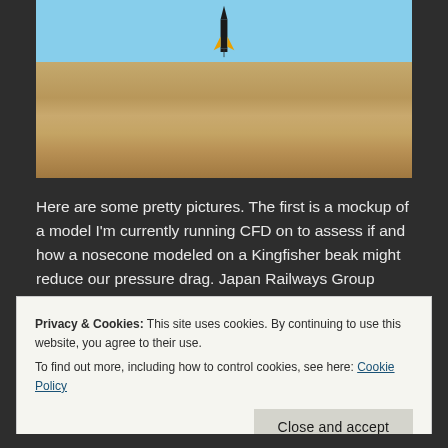[Figure (photo): A model rocket with yellow fins flying above a desert landscape with sandy hills and clear blue sky]
Here are some pretty pictures. The first is a mockup of a model I'm currently running CFD on to assess if and how a nosecone modeled on a Kingfisher beak might reduce our pressure drag. Japan Railways Group modeled their latest bullet trains off of this beak and saw some pretty impressive results which you ...
Privacy & Cookies: This site uses cookies. By continuing to use this website, you agree to their use.
To find out more, including how to control cookies, see here: Cookie Policy